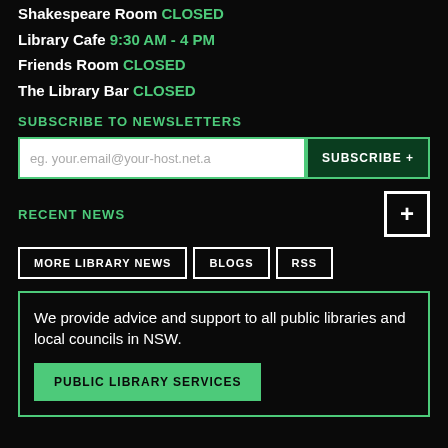Shakespeare Room CLOSED
Library Cafe 9:30 AM - 4 PM
Friends Room CLOSED
The Library Bar CLOSED
SUBSCRIBE TO NEWSLETTERS
eg. your.email@your-host.net.a  SUBSCRIBE +
RECENT NEWS
MORE LIBRARY NEWS
BLOGS
RSS
We provide advice and support to all public libraries and local councils in NSW.
PUBLIC LIBRARY SERVICES